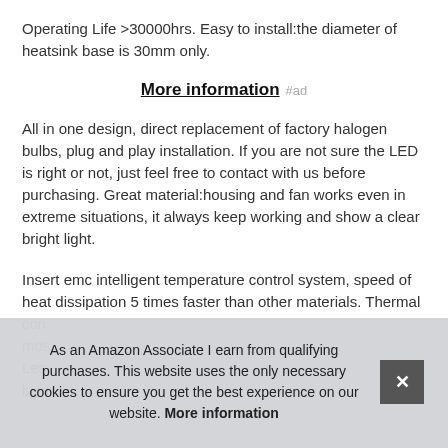Operating Life >30000hrs. Easy to install:the diameter of heatsink base is 30mm only.
More information #ad
All in one design, direct replacement of factory halogen bulbs, plug and play installation. If you are not sure the LED is right or not, just feel free to contact with us before purchasing. Great material:housing and fan works even in extreme situations, it always keep working and show a clear bright light.
Insert emc intelligent temperature control system, speed of heat dissipation 5 times faster than other materials. Thermal con[trol] mos[t] Les[s] light
As an Amazon Associate I earn from qualifying purchases. This website uses the only necessary cookies to ensure you get the best experience on our website. More information